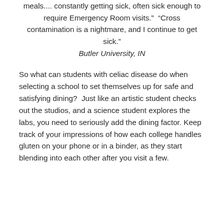meals.... constantly getting sick, often sick enough to require Emergency Room visits."  "Cross contamination is a nightmare, and I continue to get sick."
Butler University, IN
So what can students with celiac disease do when selecting a school to set themselves up for safe and satisfying dining?  Just like an artistic student checks out the studios, and a science student explores the labs, you need to seriously add the dining factor. Keep track of your impressions of how each college handles gluten on your phone or in a binder, as they start blending into each other after you visit a few.